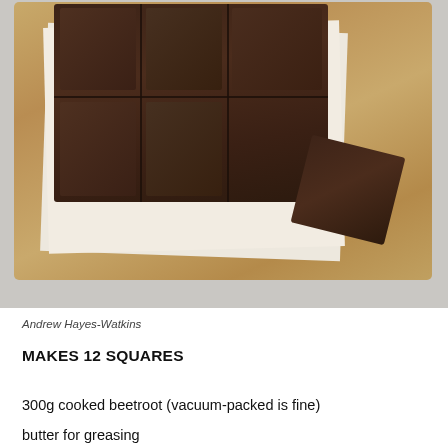[Figure (photo): Overhead view of chocolate beetroot brownies cut into squares, arranged on parchment paper on a wooden cutting board. One piece is turned on its side. The background is a light grey surface.]
Andrew Hayes-Watkins
MAKES 12 SQUARES
300g cooked beetroot (vacuum-packed is fine)
butter for greasing